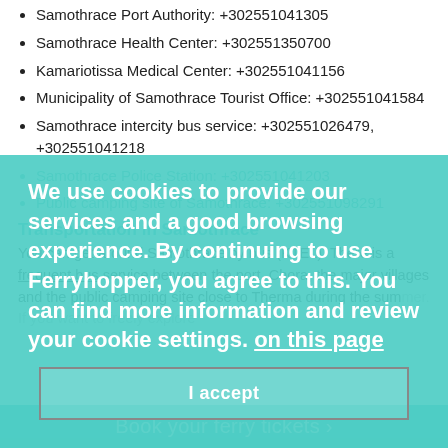Samothrace Port Authority: +302551041305
Samothrace Health Center: +302551350700
Kamariotissa Medical Center: +302551041156
Municipality of Samothrace Tourist Office: +302551041584
Samothrace intercity bus service: +302551026479, +302551041218
Samothrace Police Station: +302551041203
Public camping site of Samothrace: +302551098291
Transportation in Samothrace
You can get around Samothrace by bus (KTEL). There is a frequent bus service between the port, Chora, the major villages and the public camping site close to Therma during the summer. If you want to freely explore
We use cookies to provide our services and a good browsing experience. By continuing to use Ferryhopper, you agree to this. You can find more information and review your cookie settings on this page
I accept
Book your ferry tickets >